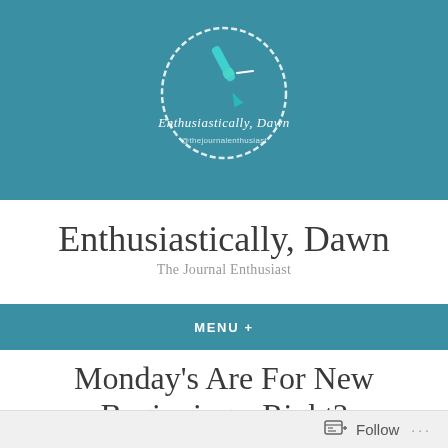[Figure (logo): Circular logo with teal/turquoise pen illustration, text 'Enthusiastically, Dawn' in white script, and '@thejournalenthusiast' below, on a teal background band]
Enthusiastically, Dawn
The Journal Enthusiast
MENU +
Monday's Are For New Beginnings, Right?
Follow ...